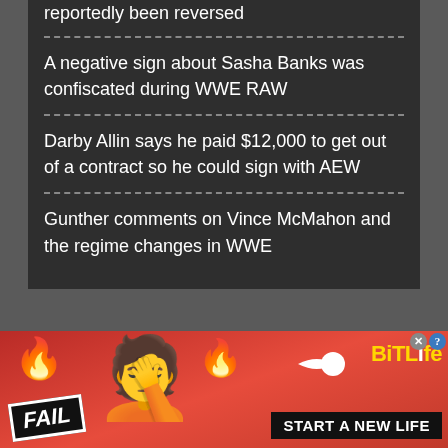reportedly been reversed
A negative sign about Sasha Banks was confiscated during WWE RAW
Darby Allin says he paid $12,000 to get out of a contract so he could sign with AEW
Gunther comments on Vince McMahon and the regime changes in WWE
[Figure (screenshot): BitLife advertisement banner with 'FAIL' text, animated character, flames, and 'START A NEW LIFE' tagline]